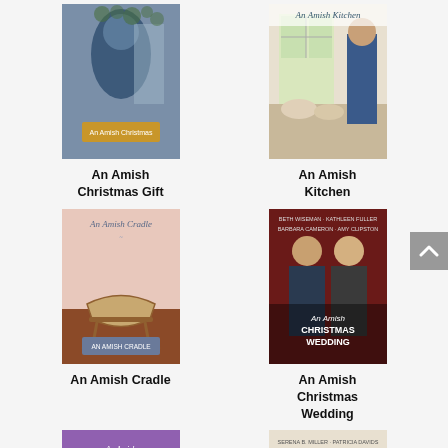[Figure (illustration): Book cover: An Amish Christmas Gift – figure in blue cloak]
An Amish Christmas Gift
[Figure (illustration): Book cover: An Amish Kitchen – kitchen/window scene]
An Amish Kitchen
[Figure (illustration): Book cover: An Amish Cradle – cradle/pink background]
An Amish Cradle
[Figure (illustration): Book cover: An Amish Christmas Wedding – couple in red background]
An Amish Christmas Wedding
[Figure (illustration): Book cover: An Amish Spring – figure in purple floral field]
[Figure (illustration): Book cover: Amish Midwives – woman in teal]